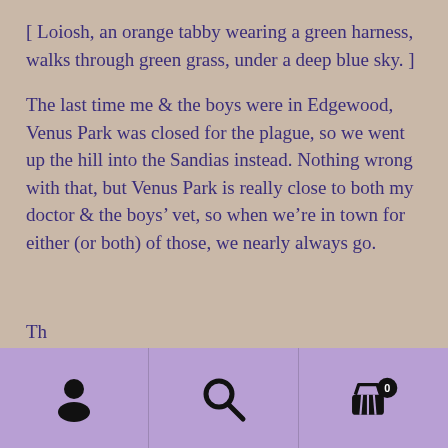[ Loiosh, an orange tabby wearing a green harness, walks through green grass, under a deep blue sky. ]
The last time me & the boys were in Edgewood, Venus Park was closed for the plague, so we went up the hill into the Sandias instead. Nothing wrong with that, but Venus Park is really close to both my doctor & the boys' vet, so when we’re in town for either (or both) of those, we nearly always go.
[Figure (other): Mobile navigation bar with user/account icon, search icon, and shopping cart icon with badge showing 0]